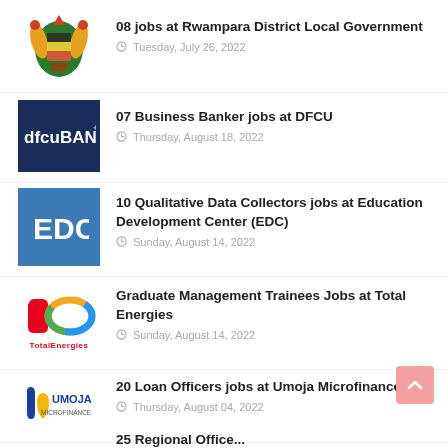08 jobs at Rwampara District Local Government
Tuesday, July 26, 2022
07 Business Banker jobs at DFCU
Thursday, August 18, 2022
10 Qualitative Data Collectors jobs at Education Development Center (EDC)
Sunday, August 14, 2022
Graduate Management Trainees Jobs at Total Energies
Sunday, August 14, 2022
20 Loan Officers jobs at Umoja Microfinance
Thursday, August 04, 2022
25 Regional Office...